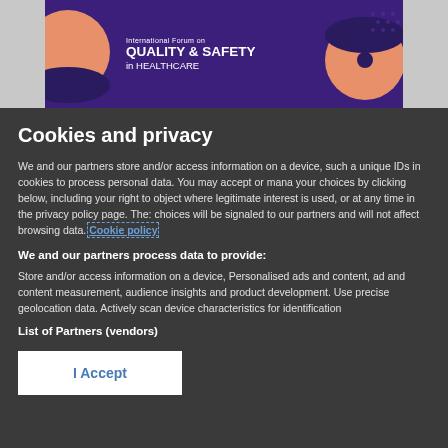[Figure (logo): International Forum on Quality & Safety in Healthcare banner with purple background and orange circular decorative elements]
Cookies and privacy
We and our partners store and/or access information on a device, such as unique IDs in cookies to process personal data. You may accept or manage your choices by clicking below, including your right to object where legitimate interest is used, or at any time in the privacy policy page. These choices will be signaled to our partners and will not affect browsing data. Cookie policy
We and our partners process data to provide:
Store and/or access information on a device, Personalised ads and content, ad and content measurement, audience insights and product development. Use precise geolocation data. Actively scan device characteristics for identification
List of Partners (vendors)
I Accept